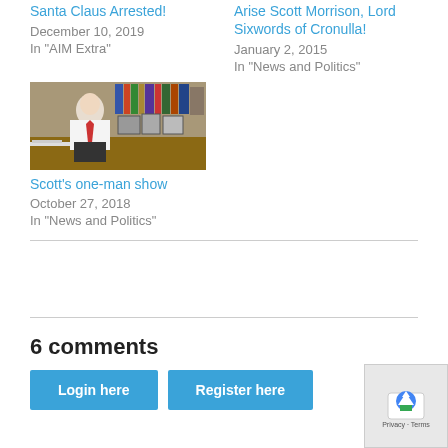Santa Claus Arrested!
December 10, 2019
In "AIM Extra"
Arise Scott Morrison, Lord Sixwords of Cronulla!
January 2, 2015
In "News and Politics"
[Figure (photo): Man in white shirt and tie seated in an office with bookshelves in the background]
Scott's one-man show
October 27, 2018
In "News and Politics"
6 comments
Login here
Register here